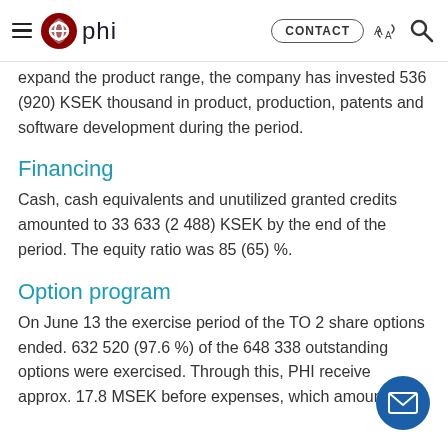phi | CONTACT
expand the product range, the company has invested 536 (920) KSEK thousand in product, production, patents and software development during the period.
Financing
Cash, cash equivalents and unutilized granted credits amounted to 33 633 (2 488) KSEK by the end of the period. The equity ratio was 85 (65) %.
Option program
On June 13 the exercise period of the TO 2 share options ended. 632 520 (97.6 %) of the 648 338 outstanding options were exercised. Through this, PHI received approx. 17.8 MSEK before expenses, which amounted to